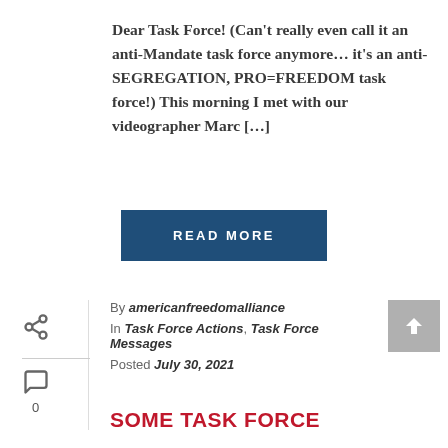Dear Task Force! (Can't really even call it an anti-Mandate task force anymore… it's an anti-SEGREGATION, PRO=FREEDOM task force!) This morning I met with our videographer Marc […]
[Figure (other): READ MORE button — dark navy blue rectangular button with white uppercase bold text]
By americanfreedomalliance
In Task Force Actions, Task Force Messages
Posted July 30, 2021
SOME TASK FORCE